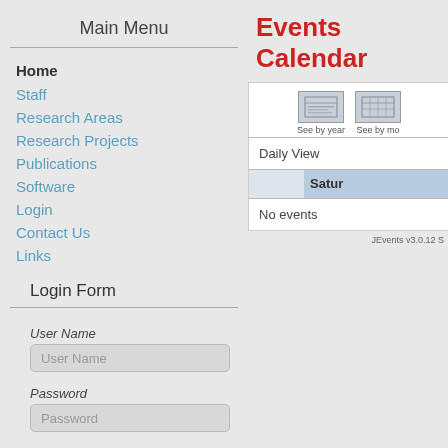Main Menu
Home
Staff
Research Areas
Research Projects
Publications
Software
Login
Contact Us
Links
Login Form
User Name
User Name
Password
Password
Events Calendar
[Figure (screenshot): Events calendar widget showing year/month view icons, Daily View section, Saturday column header, and No events message. Footer: JEvents v3.0.12 S]
JEvents v3.0.12 S